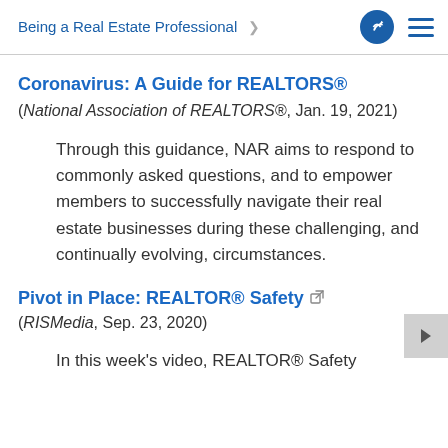Being a Real Estate Professional
Coronavirus: A Guide for REALTORS®
(National Association of REALTORS®, Jan. 19, 2021)
Through this guidance, NAR aims to respond to commonly asked questions, and to empower members to successfully navigate their real estate businesses during these challenging, and continually evolving, circumstances.
Pivot in Place: REALTOR® Safety
(RISMedia, Sep. 23, 2020)
In this week's video, REALTOR® Safety